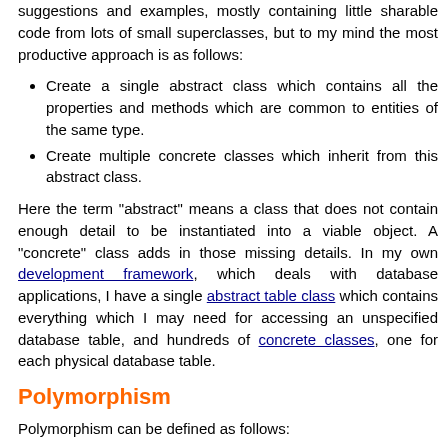suggestions and examples, mostly containing little sharable code from lots of small superclasses, but to my mind the most productive approach is as follows:
Create a single abstract class which contains all the properties and methods which are common to entities of the same type.
Create multiple concrete classes which inherit from this abstract class.
Here the term "abstract" means a class that does not contain enough detail to be instantiated into a viable object. A "concrete" class adds in those missing details. In my own development framework, which deals with database applications, I have a single abstract table class which contains everything which I may need for accessing an unspecified database table, and hundreds of concrete classes, one for each physical database table.
Polymorphism
Polymorphism can be defined as follows:
Same interface, different implementation. The ability to substitute one class for another. This